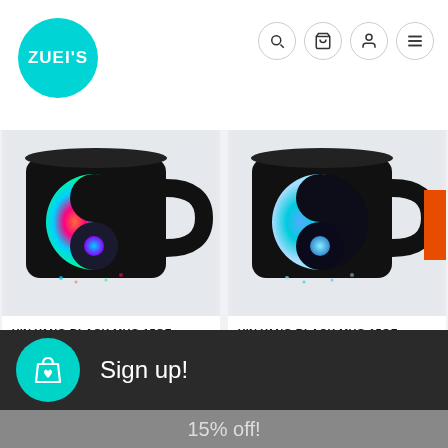[Figure (logo): Teal circular logo with white text reading ZUEI'S]
[Figure (screenshot): Navigation icons: search, cart, user, hamburger menu — each in a circle]
[Figure (photo): Black mug with colorful yin yang design — left product]
YIN YANG BLACK MUG 15OZ
$17.97
[Figure (photo): Black mug with blue yin yang design — right product]
YIN YANG BLACK MUG 15OZ
$17.97
Sign up!
15% off!